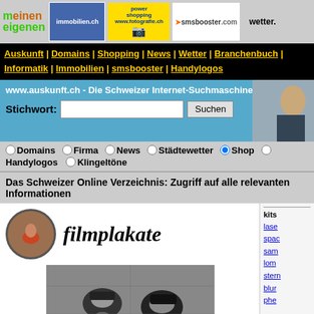[Figure (screenshot): Website header banner with logos: meinen/eigenen logo, immobilien.ch ad, power shopping/fotografie.ch ad, smsbooster.com ad, wetter. ad]
Auskunft | Domains | Shopping | News | Wetter | Branchenbuch | Informatik | Immobilien | smsbooster | Handylogos
www.auskunft.ch - Die Schweizer Internet-Suchmaschine
Stichwort: [input field] Suchen
Domains  Firma  News  Städtewetter  Shop  Handylogos  Klingeltöne
Das Schweizer Online Verzeichnis: Zugriff auf alle relevanten Informationen
[Figure (screenshot): filmplakate section with circular logo image and italic bold title 'filmplakate']
[Figure (photo): Black and white photo showing two people wearing hats and sunglasses]
kits
lase
spac
sam
lom
stern
blur
phe